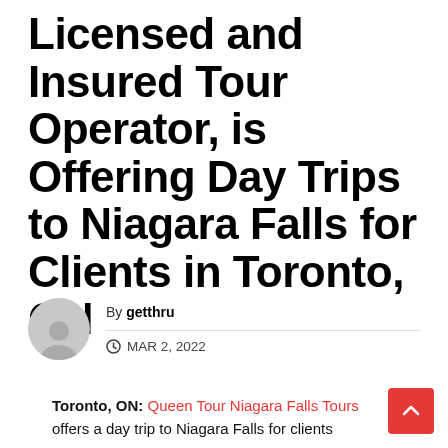Licensed and Insured Tour Operator, is Offering Day Trips to Niagara Falls for Clients in Toronto, ON
By getthru  MAR 2, 2022
Toronto, ON: Queen Tour Niagara Falls Tours offers a day trip to Niagara Falls for clients